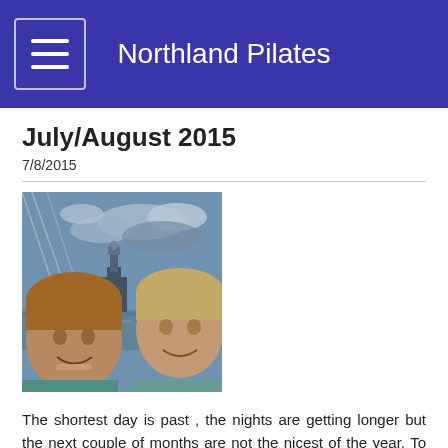Northland Pilates
July/August 2015
7/8/2015
[Figure (photo): Selfie photo of two women smiling, taken on what appears to be the London Eye, with Big Ben and the River Thames visible in the background on a partly cloudy day.]
The shortest day is past , the nights are getting longer but the next couple of months are not the nicest of the year. To stay motivated at this time isn't easy but we will work hard to keep you enthusiastic with